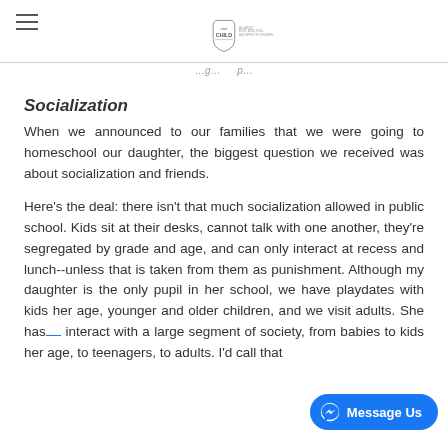one CHILD logo header
Socialization
When we announced to our families that we were going to homeschool our daughter, the biggest question we received was about socialization and friends.
Here's the deal: there isn't that much socialization allowed in public school. Kids sit at their desks, cannot talk with one another, they're segregated by grade and age, and can only interact at recess and lunch--unless that is taken from them as punishment. Although my daughter is the only pupil in her school, we have playdates with kids her age, younger and older children, and we visit adults. She has interact with a large segment of society, from babies to kids her age, to teenagers, to adults. I'd call that